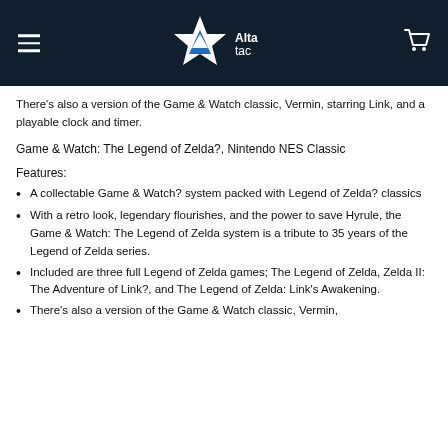Altac [logo]
There's also a version of the Game & Watch classic, Vermin, starring Link, and a playable clock and timer.
Game & Watch: The Legend of Zelda?, Nintendo NES Classic
Features:
A collectable Game & Watch? system packed with Legend of Zelda? classics
With a retro look, legendary flourishes, and the power to save Hyrule, the Game & Watch: The Legend of Zelda system is a tribute to 35 years of the Legend of Zelda series.
Included are three full Legend of Zelda games; The Legend of Zelda, Zelda II: The Adventure of Link?, and The Legend of Zelda: Link's Awakening.
There's also a version of the Game & Watch classic, Vermin,